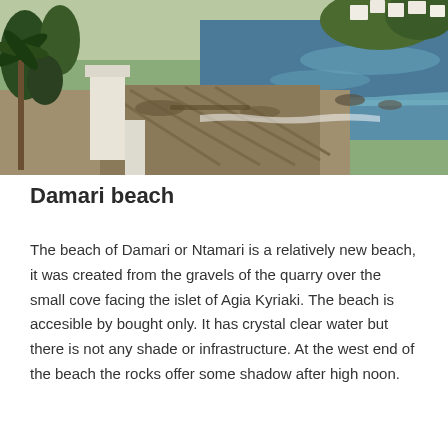[Figure (photo): A beach scene showing a sandy shoreline with a white wall/steps on the left, palm trees, calm blue sea water, rocky outcrops, and white buildings on a hillside in the background.]
Damari beach
The beach of Damari or Ntamari is a relatively new beach, it was created from the gravels of the quarry over the small cove facing the islet of Agia Kyriaki. The beach is accesible by bought only. It has crystal clear water but there is not any shade or infrastructure. At the west end of the beach the rocks offer some shadow after high noon.